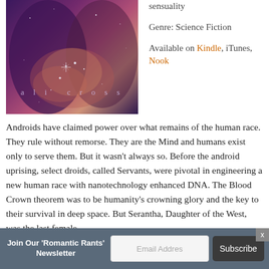[Figure (photo): Book cover for a science fiction romance novel by Ali Cross, showing two faces (a woman and a man) with cosmic/galaxy background and sparkles. Author name 'ali cross' written in small spaced letters at the bottom.]
sensuality
Genre: Science Fiction
Available on Kindle, iTunes, Nook
Androids have claimed power over what remains of the human race. They rule without remorse. They are the Mind and humans exist only to serve them. But it wasn't always so. Before the android uprising, select droids, called Servants, were pivotal in engineering a new human race with nanotechnology enhanced DNA. The Blood Crown theorem was to be humanity's crowning glory and the key to their survival in deep space. But Serantha, Daughter of the West, was the last female
Join Our 'Romantic Rants' Newsletter
Email Addres
Subscribe